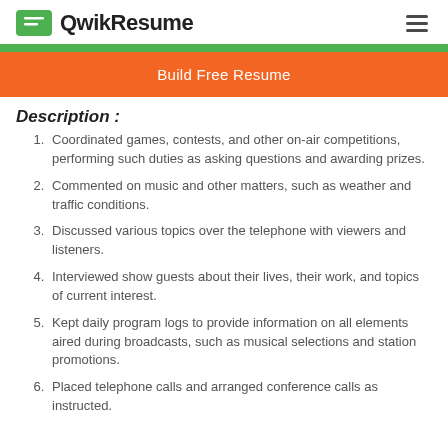QwikResume
Build Free Resume
Description :
Coordinated games, contests, and other on-air competitions, performing such duties as asking questions and awarding prizes.
Commented on music and other matters, such as weather and traffic conditions.
Discussed various topics over the telephone with viewers and listeners.
Interviewed show guests about their lives, their work, and topics of current interest.
Kept daily program logs to provide information on all elements aired during broadcasts, such as musical selections and station promotions.
Placed telephone calls and arranged conference calls as instructed.